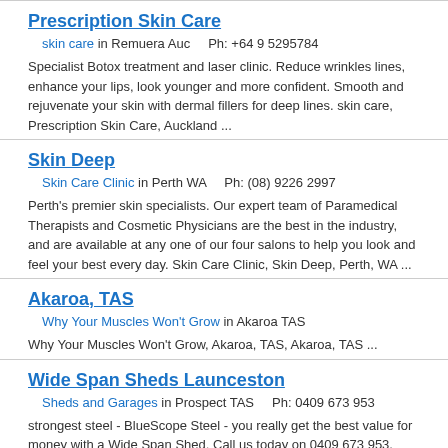Prescription Skin Care
skin care in Remuera Auc    Ph: +64 9 5295784
Specialist Botox treatment and laser clinic. Reduce wrinkles lines, enhance your lips, look younger and more confident. Smooth and rejuvenate your skin with dermal fillers for deep lines. skin care, Prescription Skin Care, Auckland ...
Skin Deep
Skin Care Clinic in Perth WA    Ph: (08) 9226 2997
Perth's premier skin specialists. Our expert team of Paramedical Therapists and Cosmetic Physicians are the best in the industry, and are available at any one of our four salons to help you look and feel your best every day. Skin Care Clinic, Skin Deep, Perth, WA ...
Akaroa, TAS
Why Your Muscles Won't Grow in Akaroa TAS
Why Your Muscles Won't Grow, Akaroa, TAS, Akaroa, TAS ...
Wide Span Sheds Launceston
Sheds and Garages in Prospect TAS    Ph: 0409 673 953
strongest steel - BlueScope Steel - you really get the best value for money with a Wide Span Shed. Call us today on 0409 673 953. Sheds and Garages, Wide Span Sheds Launceston, Prospect, TAS